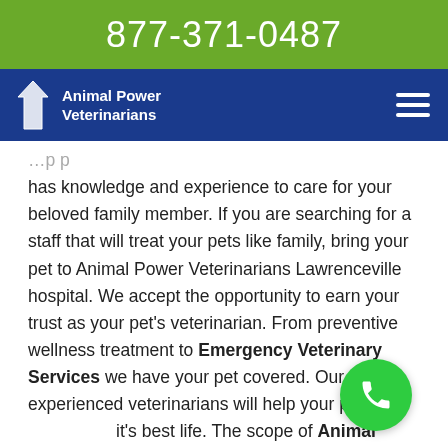877-371-0487
Animal Power Veterinarians
has knowledge and experience to care for your beloved family member. If you are searching for a staff that will treat your pets like family, bring your pet to Animal Power Veterinarians Lawrenceville hospital. We accept the opportunity to earn your trust as your pet's veterinarian. From preventive wellness treatment to Emergency Veterinary Services we have your pet covered. Our experienced veterinarians will help your pet live it's best life. The scope of Animal Treatment Services offered at Animal Power Veterinarians Lawrenceville makes us the best clinic for all of your pet's veterinary needs. We provide a range of services to help your pet enjoy the best health.